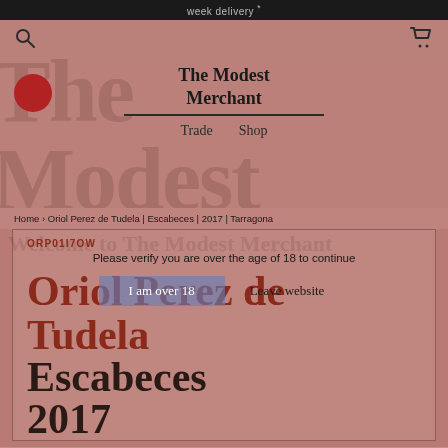week delivery *
[Figure (screenshot): Navigation bar with search icon on left and cart icon on right]
[Figure (logo): The Modest Merchant logo with Trade and Shop navigation links, overlaid on large background text reading The Modest Merchant]
Home > Oriol Perez de Tudela | Escabeces | 2017 | Tarragona
Welcome to The Modest Merchant
ORP01I7OW
Please verify you are over the age of 18 to continue
Oriol Perez de Tudela
I am over 18
Leave website
Escabeces
2017